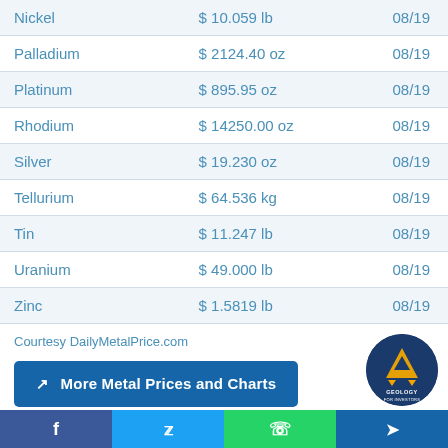| Metal | Price | Date |
| --- | --- | --- |
| Nickel | $ 10.059 lb | 08/19 |
| Palladium | $ 2124.40 oz | 08/19 |
| Platinum | $ 895.95 oz | 08/19 |
| Rhodium | $ 14250.00 oz | 08/19 |
| Silver | $ 19.230 oz | 08/19 |
| Tellurium | $ 64.536 kg | 08/19 |
| Tin | $ 11.247 lb | 08/19 |
| Uranium | $ 49.000 lb | 08/19 |
| Zinc | $ 1.5819 lb | 08/19 |
Courtesy DailyMetalPrice.com
More Metal Prices and Charts
Tools
[Figure (logo): Geology for Investors circular logo with yellow triangle/radiation symbol on dark blue background]